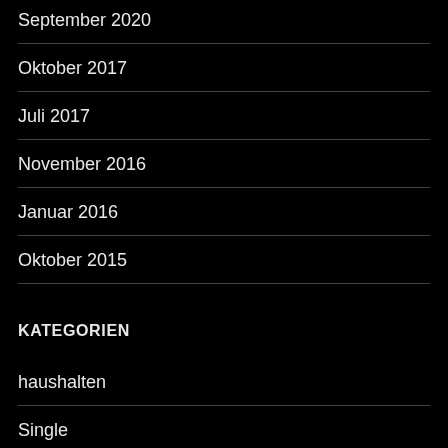September 2020
Oktober 2017
Juli 2017
November 2016
Januar 2016
Oktober 2015
KATEGORIEN
haushalten
Single
Uncategorized